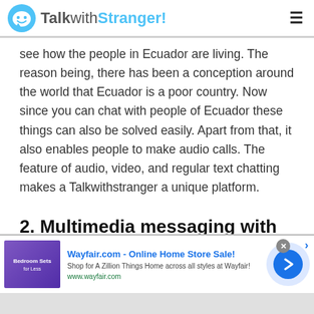TalkwithStranger!
see how the people in Ecuador are living. The reason being, there has been a conception around the world that Ecuador is a poor country. Now since you can chat with people of Ecuador these things can also be solved easily. Apart from that, it also enables people to make audio calls. The feature of audio, video, and regular text chatting makes a Talkwithstranger a unique platform.
2. Multimedia messaging with Ecuadorean users:
[Figure (screenshot): Wayfair.com advertisement banner: 'Wayfair.com - Online Home Store Sale!' with Bedroom Sets image, shop tagline, www.wayfair.com URL, and a blue arrow button]